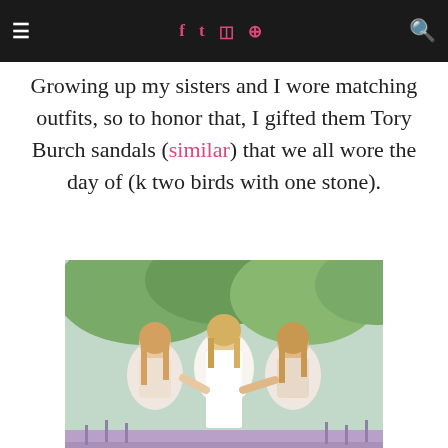≡  f  t  ☷  ⊕  🔍
Growing up my sisters and I wore matching outfits, so to honor that, I gifted them Tory Burch sandals (similar) that we all wore the day of (k two birds with one stone).
[Figure (photo): Three young women standing together outdoors in a lavender field with green trees in background. The woman in the center is wearing a white bridal gown; the women on either side are wearing light blush/champagne bridesmaid dresses.]
[Figure (photo): Partial view of an outdoor scene, blurred, with soft green and white tones, likely a continuation of the wedding/outdoor setting.]